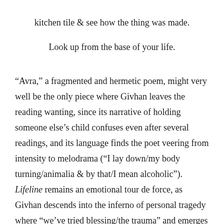kitchen tile & see how the thing was made.
Look up from the base of your life.
“Avra,” a fragmented and hermetic poem, might very well be the only piece where Givhan leaves the reading wanting, since its narrative of holding someone else’s child confuses even after several readings, and its language finds the poet veering from intensity to melodrama (“I lay down/my body turning/animalia & by that/I mean alcoholic”). Lifeline remains an emotional tour de force, as Givhan descends into the inferno of personal tragedy where “we’ve tried blessing/the trauma” and emerges scarred but whole.